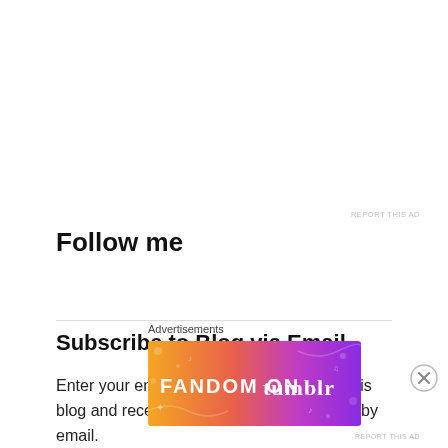REPORT THIS AD
Follow me
Subscribe to Blog via Email
Enter your email address to subscribe to this blog and receive notifications of new posts by email.
Advertisements
[Figure (illustration): Fandom on Tumblr advertisement banner with orange-to-purple gradient background and decorative icons]
REPORT THIS AD